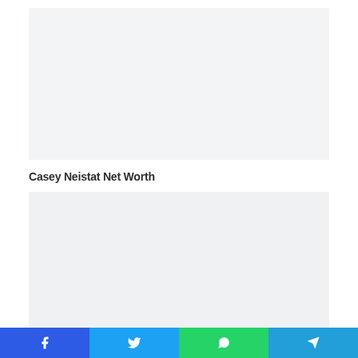[Figure (other): Placeholder image block (light gray background) for article thumbnail]
Casey Neistat Net Worth
[Figure (other): Placeholder image block (light gray background) for article content image]
Social share bar: Facebook, Twitter, WhatsApp, Telegram